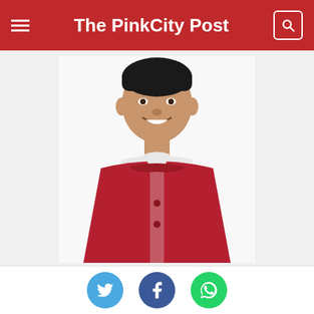The PinkCity Post
[Figure (photo): Portrait photo of Minister of state for rural development Dhan Singh Rawat, wearing a red Nehru jacket over a white kurta, smiling.]
Minister of state for rural development Dhan Singh Rawat.
Jaipur: An FIR has been registered against minister of state for rural development, Dhan Singh Rawat for violating the model code of conduct on Monday. He had said while